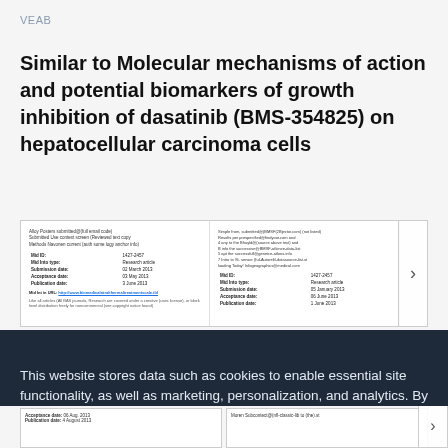VEAB
Similar to Molecular mechanisms of action and potential biomarkers of growth inhibition of dasatinib (BMS-354825) on hepatocellular carcinoma cells
[Figure (screenshot): Two document preview thumbnails showing article metadata including article ID, article type, submission date, acceptance date, publication date, and DOI link]
This website stores data such as cookies to enable essential site functionality, as well as marketing, personalization, and analytics. By remaining on this website you indicate your consent.
Cookie Policy